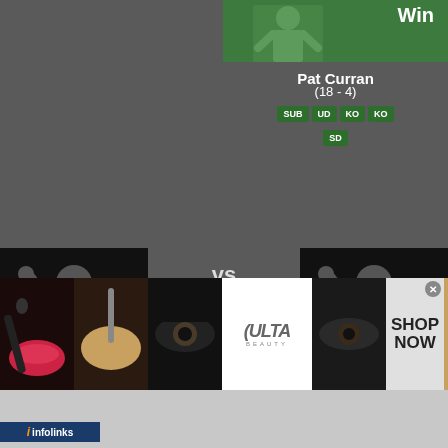[Figure (photo): Green background with Win label - Pat Curran fighter image top right]
Pat Curran
(18 - 4)
SUB UD KO KO SD
[Figure (illustration): Black card with fighter silhouette raising fist, Win button - Shahbulat Shamhalaev]
Shahbulat Shamhalaev
(10 - 1 - 1)
vs
KO (Punch)
Round: 2
Time: 2:12
Bellator MMA - Bellator
90
Feb 21, 2013
[Figure (illustration): Black card with fighter silhouette raising fist, Loss button - Radley Martinez]
Radley Martinez
(14 - 2)
UD TKO
BD TKO TKO
[Figure (photo): Ulta Beauty advertisement banner with makeup imagery and SHOP NOW text]